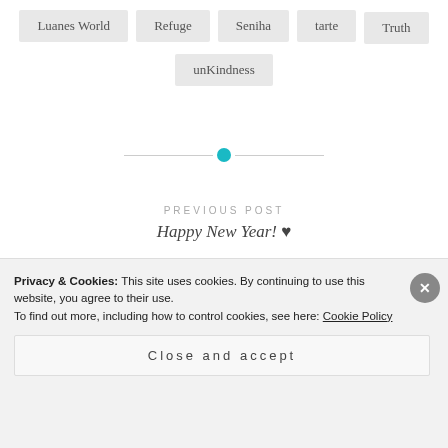Luanes World
Refuge
Seniha
tarte
Truth
unKindness
[Figure (other): Horizontal divider line with a teal/cyan circle in the center]
PREVIOUS POST
Happy New Year! ♥
NEXT POST
Next Ci...
Privacy & Cookies: This site uses cookies. By continuing to use this website, you agree to their use. To find out more, including how to control cookies, see here: Cookie Policy
Close and accept